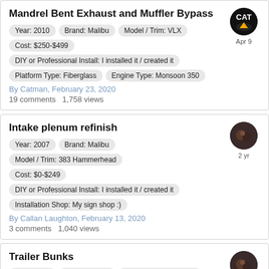Mandrel Bent Exhaust and Muffler Bypass
Year: 2010   Brand: Malibu   Model / Trim: VLX
Cost: $250-$499
DIY or Professional Install: I installed it / created it
Platform Type: Fiberglass   Engine Type: Monsoon 350
By Catman, February 23, 2020
19 comments   1,758 views
Intake plenum refinish
Year: 2007   Brand: Malibu   Model / Trim: 383 Hammerhead
Cost: $0-$249
DIY or Professional Install: I installed it / created it
Installation Shop: My sign shop :)
By Callan Laughton, February 13, 2020
3 comments   1,040 views
Trailer Bunks
Year: 2008   Brand: Malibu   Model / Trim: 247 LSV
Cost: $250-$499   Installation Shop: My Garage
By jonthefireman, February 5, 2020
6 comments   1,678 views